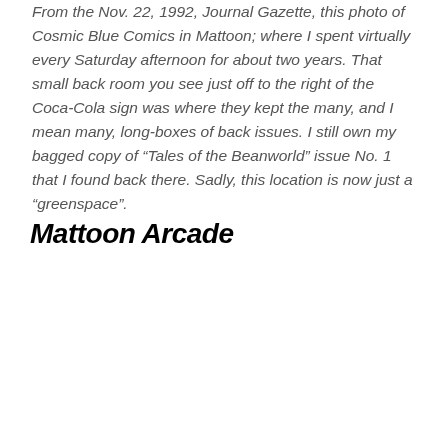From the Nov. 22, 1992, Journal Gazette, this photo of Cosmic Blue Comics in Mattoon; where I spent virtually every Saturday afternoon for about two years. That small back room you see just off to the right of the Coca-Cola sign was where they kept the many, and I mean many, long-boxes of back issues. I still own my bagged copy of “Tales of the Beanworld” issue No. 1 that I found back there. Sadly, this location is now just a “greenspace”.
Mattoon Arcade
[Figure (photo): A partially visible photo placeholder (light gray rectangle) representing the Mattoon Arcade image, with a yellow back-to-top button in the lower right corner.]